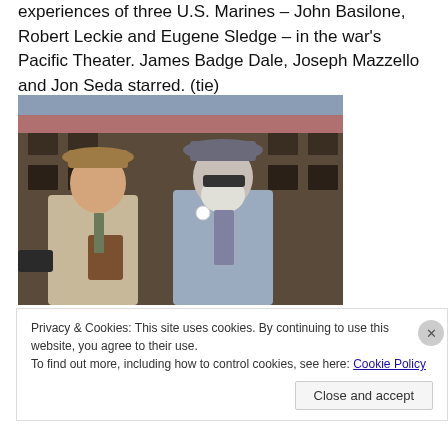experiences of three U.S. Marines – John Basilone, Robert Leckie and Eugene Sledge – in the war's Pacific Theater. James Badge Dale, Joseph Mazzello and Jon Seda starred. (tie)
[Figure (photo): Two men standing outdoors in front of a building. The man on the left wears a brown hat, beige jacket, and carries a brown leather bag. The man on the right wears a grey hat, sunglasses, a grey suit, and a white button on his lapel, with a patterned tie.]
Privacy & Cookies: This site uses cookies. By continuing to use this website, you agree to their use. To find out more, including how to control cookies, see here: Cookie Policy
Close and accept